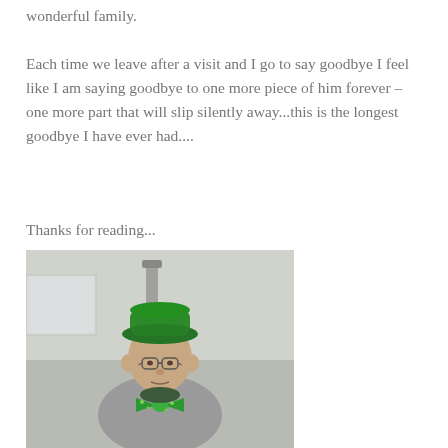wonderful family.
Each time we leave after a visit and I go to say goodbye I feel like I am saying goodbye to one more piece of him forever – one more part that will slip silently away...this is the longest goodbye I have ever had....
Thanks for reading...
[Figure (photo): An elderly man wearing a green hat and green sequined bow tie, sitting in a chair, appears to be in a care facility setting.]